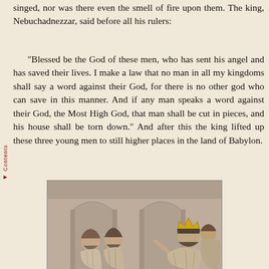singed, nor was there even the smell of fire upon them. The king, Nebuchadnezzar, said before all his rulers:
"Blessed be the God of these men, who has sent his angel and has saved their lives. I make a law that no man in all my kingdoms shall say a word against their God, for there is no other god who can save in this manner. And if any man speaks a word against their God, the Most High God, that man shall be cut in pieces, and his house shall be torn down." And after this the king lifted up these three young men to still higher places in the land of Babylon.
[Figure (illustration): A grayscale illustration depicting two figures on the left (bearded men) and a crowned figure on the right gesturing, with decorative architectural elements in the background, relating to the story of Nebuchadnezzar and the three men.]